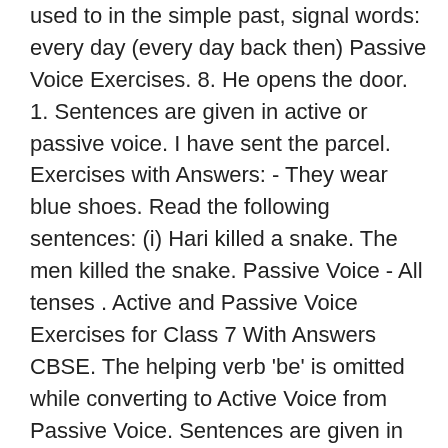used to in the simple past, signal words: every day (every day back then) Passive Voice Exercises. 8. He opens the door. 1. Sentences are given in active or passive voice. I have sent the parcel. Exercises with Answers: - They wear blue shoes. Read the following sentences: (i) Hari killed a snake. The men killed the snake. Passive Voice - All tenses . Active and Passive Voice Exercises for Class 7 With Answers CBSE. The helping verb 'be' is omitted while converting to Active Voice from Passive Voice. Sentences are given in the active voice. - She pays a lot of money. (GIVE) 2. The planning committee discovered that the room wasn't available. The passersby took the injured man to hospital. Active and Passive Voice of Imperative Sentences. Active And Passive Voice Interrogative Sentences Exercises With Answers Class 7 CBSE August 17, 2020 by Bhagya Leave a Comment Looking for an easy way to Learning of new elementary english grammar and composition for class 7 answers. Solutions. - I draw a